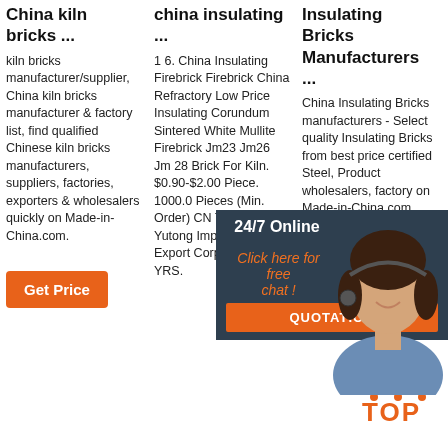China kiln bricks ...
kiln bricks manufacturer/supplier, China kiln bricks manufacturer & factory list, find qualified Chinese kiln bricks manufacturers, suppliers, factories, exporters & wholesalers quickly on Made-in-China.com.
[Figure (other): Orange 'Get Price' button]
china insulating ...
1 6. China Insulating Firebrick Firebrick China Refractory Low Price Insulating Corundum Sintered White Mullite Firebrick Jm23 Jm26 Jm 28 Brick For Kiln. $0.90-$2.00 Piece. 1000.0 Pieces (Min. Order) CN Tangshan Yutong Import And Export Corporation. 16 YRS.
Insulating Bricks Manufacturers ...
China Insulating Bricks manufacturers - Select quality Insulating Bricks from best price certified Steel, Product wholesalers, factory on Made-in-China.com
[Figure (other): Orange 'Get Price' button (column 3)]
[Figure (other): 24/7 Online chat widget overlay with agent photo, 'Click here for free chat!' text, QUOTATION button]
[Figure (other): TOP icon with orange dots and text]